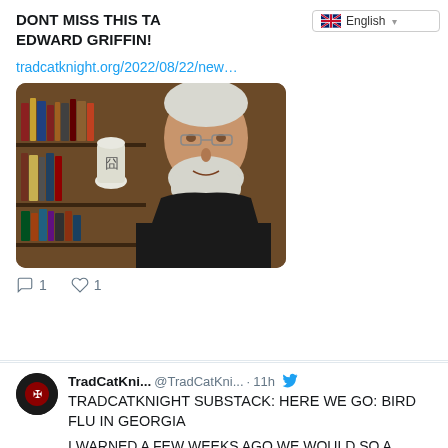DONT MISS THIS TA… EDWARD GRIFFIN!
tradcatknight.org/2022/08/22/new…
[Figure (photo): Older white-haired man with beard in front of bookshelves with a white vase, wearing dark jacket]
1  1
TradCatKni... @TradCatKni... · 11h
TRADCATKNIGHT SUBSTACK: HERE WE GO: BIRD FLU IN GEORGIA
I WARNED A FEW WEEKS AGO WE WOULD SO A RESURRECTION IN BIRD FLU HEADLINES